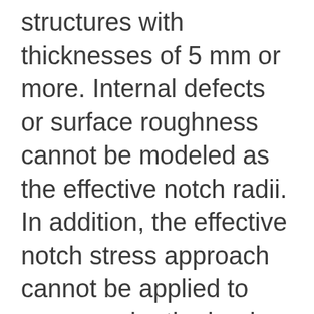structures with thicknesses of 5 mm or more. Internal defects or surface roughness cannot be modeled as the effective notch radii. In addition, the effective notch stress approach cannot be applied to cases under the loads parallel to the weld or root gap. DNV GL and IIW